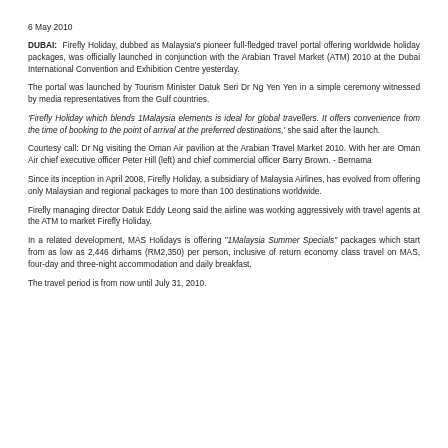6 May 2010
DUBAI: Firefly Holiday, dubbed as Malaysia's pioneer full-fledged travel portal offering worldwide holiday packages, was officially launched in conjunction with the Arabian Travel Market (ATM) 2010 at the Dubai International Convention and Exhibition Centre yesterday.
The portal was launched by Tourism Minister Datuk Seri Dr Ng Yen Yen in a simple ceremony witnessed by media representatives from the Gulf countries.
'Firefly Holiday which blends 1Malaysia elements is ideal for global travellers. It offers convenience from the time of booking to the point of arrival at the preferred destinations,' she said after the launch.
Courtesy call: Dr Ng visiting the Oman Air pavilion at the Arabian Travel Market 2010. With her are Oman Air chief executive officer Peter Hill (left) and chief commercial officer Barry Brown. - Bernama
Since its inception in April 2008, Firefly Holiday, a subsidiary of Malaysia Airlines, has evolved from offering only Malaysian and regional packages to more than 100 destinations worldwide.
Firefly managing director Datuk Eddy Leong said the airline was working aggressively with travel agents at the ATM to market Firefly Holiday.
In a related development, MAS Holidays is offering "1Malaysia Summer Specials" packages which start from as low as 2,446 dirhams (RM2,350) per person, inclusive of return economy class travel on MAS, four-day and three-night accommodation and daily breakfast.
The travel period is from now until July 31, 2010.